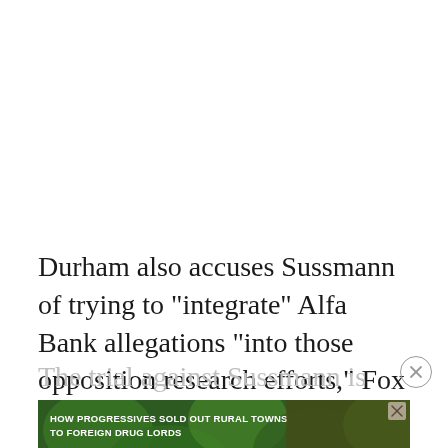Durham also accuses Sussmann of trying to “integrate” Alfa Bank allegations “into those opposition research efforts,” Fox News reported.
The trial against Sussmann is slated to begin on May
[Figure (other): Advertisement banner: 'HOW PROGRESSIVES SOLD OUT RURAL TOWNS TO FOREIGN DRUG LORDS' with NARCOFORNIA branding and a WATCH NOW button, overlaid on a green leafy background.]